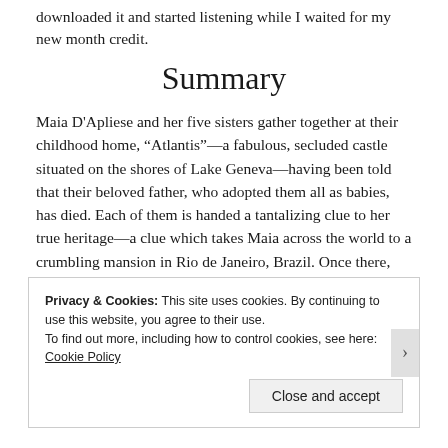downloaded it and started listening while I waited for my new month credit.
Summary
Maia D'Apliese and her five sisters gather together at their childhood home, “Atlantis”—a fabulous, secluded castle situated on the shores of Lake Geneva—having been told that their beloved father, who adopted them all as babies, has died. Each of them is handed a tantalizing clue to her true heritage—a clue which takes Maia across the world to a crumbling mansion in Rio de Janeiro, Brazil. Once there, she begins to put together the pieces of her story and its beginnings.
Privacy & Cookies: This site uses cookies. By continuing to use this website, you agree to their use.
To find out more, including how to control cookies, see here: Cookie Policy
Close and accept